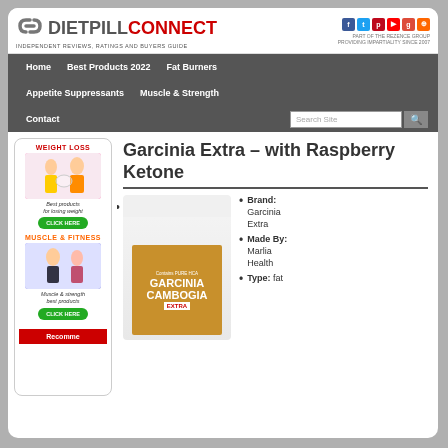DIETPILL CONNECT - INDEPENDENT REVIEWS, RATINGS AND BUYERS GUIDE
[Figure (logo): DietPillConnect logo with chain link icon, red CONNECT text, social media icons (Facebook, Twitter, Pinterest, YouTube, Google+, RSS)]
Home | Best Products 2022 | Fat Burners | Appetite Suppressants | Muscle & Strength | Contact
Garcinia Extra – with Raspberry Ketone
[Figure (photo): Sidebar weight loss advertisement with before/after photo, Best products for losing weight, CLICK HERE button]
[Figure (photo): Sidebar muscle & fitness advertisement with fitness photo, Muscle & strength best products, CLICK HERE button]
[Figure (photo): Garcinia Extra product bottle with Garcinia Cambogia Extra label]
Brand: Garcinia Extra
Made By: Marlia Health
Type: fat...